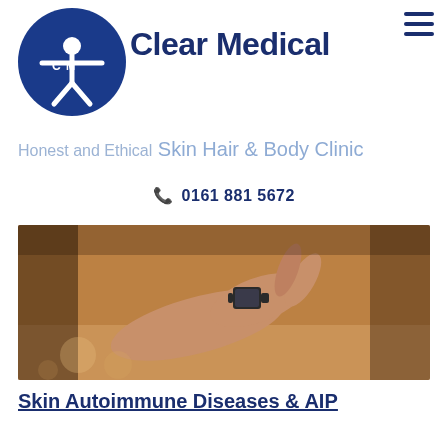[Figure (logo): Clear Medical logo: dark blue circle with a stylized human figure and 'CM' text, beside the text 'Clear Medical' in bold dark navy]
[Figure (other): Hamburger menu icon (three horizontal lines) in dark navy, top-right corner]
Honest and Ethical Skin Hair & Body Clinic
0161 881 5672
[Figure (photo): Close-up photo of a person's hands and forearm resting on a patterned surface, person wearing a dark digital wristwatch, warm amber/brown tones]
Skin Autoimmune Diseases & AIP